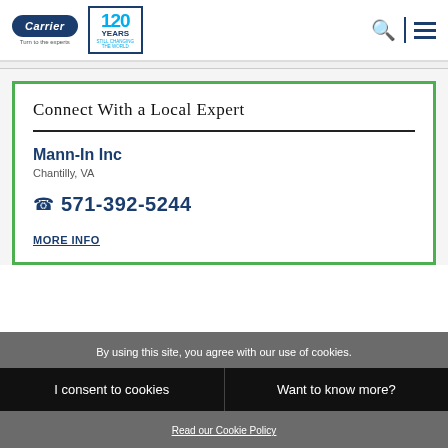Carrier — Turn to the experts | 120 YEARS STILL CHANGING THE WORLD
Connect With a Local Expert
Mann-In Inc
Chantilly, VA
571-392-5244
MORE INFO
By using this site, you agree with our use of cookies.
I consent to cookies
Want to know more?
Read our Cookie Policy